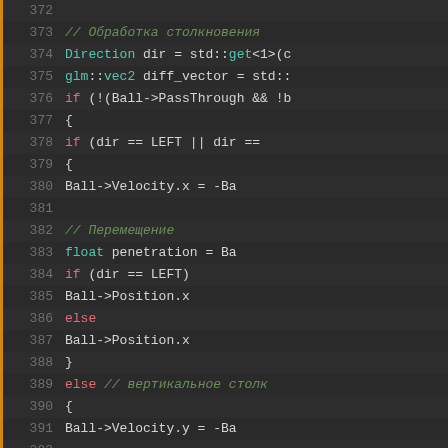[Figure (screenshot): Code editor screenshot showing C++ source code lines 372-394, with syntax highlighting on a dark background. The code handles collision detection, checking ball direction and updating Ball velocity and position. Comments are in Russian (e.g. Обработка столкновения, Перемещение, вертикальное столкновение). Line numbers are shown on the left with an orange left border.]